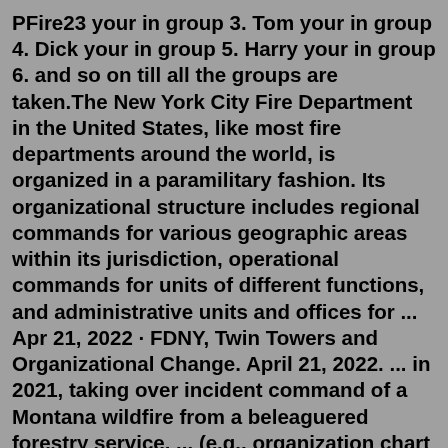PFire23 your in group 3. Tom your in group 4. Dick your in group 5. Harry your in group 6. and so on till all the groups are taken.The New York City Fire Department in the United States, like most fire departments around the world, is organized in a paramilitary fashion. Its organizational structure includes regional commands for various geographic areas within its jurisdiction, operational commands for units of different functions, and administrative units and offices for ... Apr 21, 2022 · FDNY, Twin Towers and Organizational Change. April 21, 2022. ... in 2021, taking over incident command of a Montana wildfire from a beleaguered forestry service. ... (e.g., organization chart ... UPDATE: June 18, 2021 – Case settled with the city agreeing to promote Chief Gala and pay him $100,000, and Chief > Gala providing a written statement in support of diversity. fdny ems organizational chart. July 1, 2022 Posted by clients prepaid financial services derbyshire; 01 Jul ... Jan 01, 2021 · Adopted Rules (2018-2022) Fire Department Amended Rule 3 RCNY 100-03...